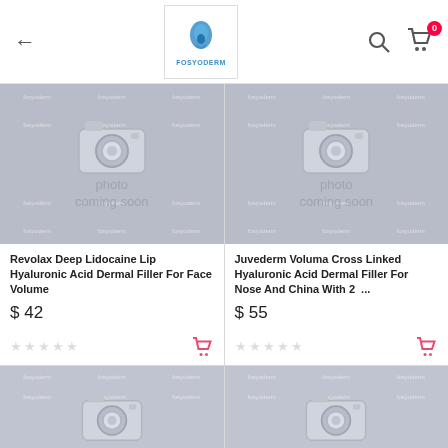FOSYODERM - navigation header with back arrow, logo, search, and cart (0 items)
[Figure (photo): Photo coming soon placeholder image for Revolax product]
Revolax Deep Lidocaine Lip Hyaluronic Acid Dermal Filler For Face Volume
$ 42
[Figure (photo): Photo coming soon placeholder image for Juvederm product]
Juvederm Voluma Cross Linked Hyaluronic Acid Dermal Filler For Nose And China With 2 ...
$ 55
[Figure (photo): Photo coming soon placeholder - partial third product card]
[Figure (photo): Photo coming soon placeholder - partial fourth product card]